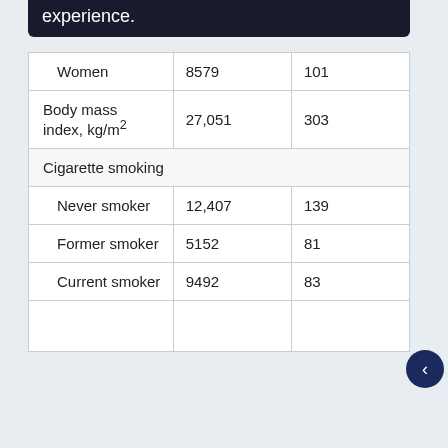experience.
|  |  |  |
| --- | --- | --- |
| Women | 8579 | 101 |
| Body mass index, kg/m² | 27,051 | 303 |
| Cigarette smoking |  |  |
| Never smoker | 12,407 | 139 |
| Former smoker | 5152 | 81 |
| Current smoker | 9492 | 83 |
|  |  |  |